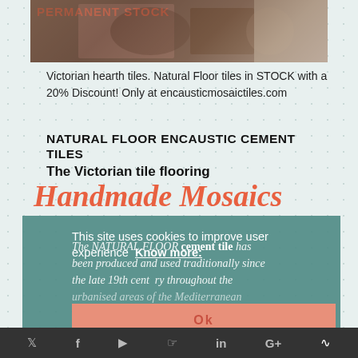[Figure (photo): Victorian hearth tiles product photo with PERMANENT STOCK label in red text]
Victorian hearth tiles. Natural Floor tiles in STOCK with a 20% Discount! Only at encausticmosaictiles.com
NATURAL FLOOR ENCAUSTIC CEMENT TILES
The Victorian tile flooring
Handmade Mosaics
This site uses cookies to improve user experience  Know more:
The NATURAL FLOOR cement tile has been produced and used traditionally since the late 19th century throughout the urbanised areas of the Mediterranean France, the Iberian Peninsula (Spain and
OK  [social icons: Twitter, Facebook, YouTube, Pinterest, LinkedIn, Google+, RSS]